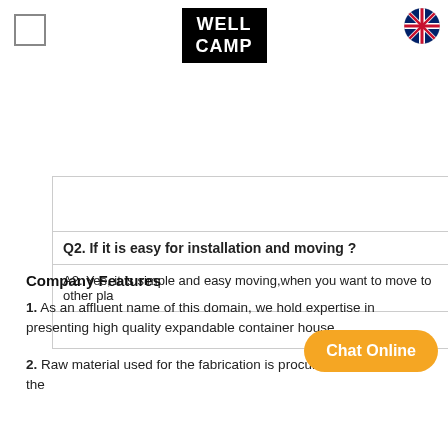[Figure (logo): WELLCAMP logo — white text on black background, two lines: WELL / CAMP]
[Figure (illustration): UK flag circle icon in top-right corner]
|  |
| Q2. If it is easy for installation and moving ? |
| A2. Yes, it is simple and easy moving,when you want to move to other pla |
|  |
Company Features
1. As an affluent name of this domain, we hold expertise in presenting high quality expandable container house.
2. Raw material used for the fabrication is procured from some of the